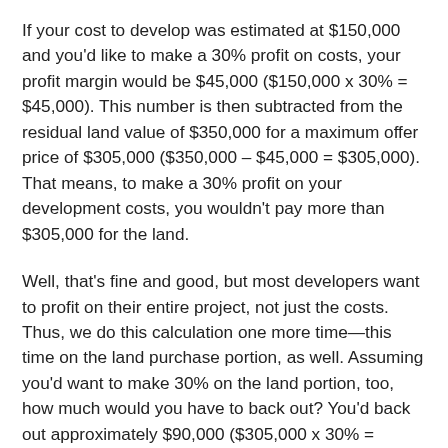If your cost to develop was estimated at $150,000 and you'd like to make a 30% profit on costs, your profit margin would be $45,000 ($150,000 x 30% = $45,000). This number is then subtracted from the residual land value of $350,000 for a maximum offer price of $305,000 ($350,000 – $45,000 = $305,000). That means, to make a 30% profit on your development costs, you wouldn't pay more than $305,000 for the land.
Well, that's fine and good, but most developers want to profit on their entire project, not just the costs. Thus, we do this calculation one more time—this time on the land purchase portion, as well. Assuming you'd want to make 30% on the land portion, too, how much would you have to back out? You'd back out approximately $90,000 ($305,000 x 30% = $91,500).